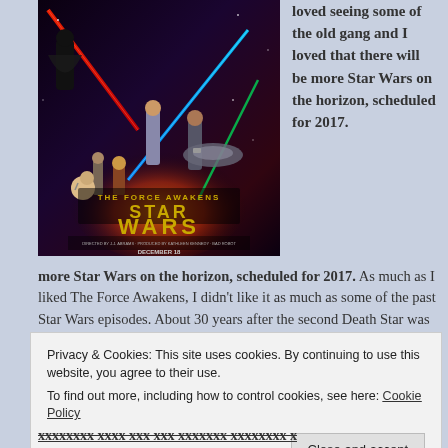[Figure (photo): Star Wars: The Force Awakens movie poster showing characters including Kylo Ren, Rey, Finn and others with lightsabers and spacecraft. Text reads 'STAR WARS THE FORCE AWAKENS DECEMBER 18']
loved seeing some of the old gang and I loved that there will be more Star Wars on the horizon, scheduled for 2017. As much as I liked The Force Awakens, I didn't like it as much as some of the past Star Wars episodes. About 30 years after the second Death Star was destroyed in Return
Privacy & Cookies: This site uses cookies. By continuing to use this website, you agree to their use.
To find out more, including how to control cookies, see here: Cookie Policy
Close and accept
(partially visible bottom text)